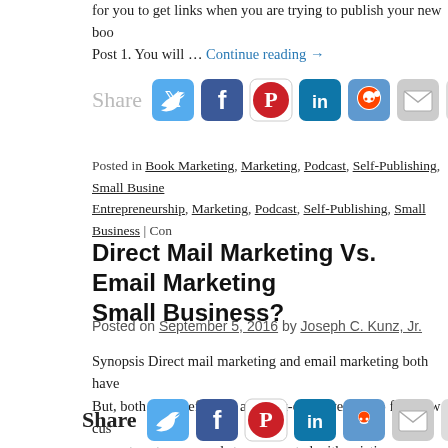for you to get links when you are trying to publish your new book. Post 1. You will … Continue reading →
[Figure (infographic): Share bar with Twitter, Facebook, Pinterest, LinkedIn, Reddit, Email, and Print icons (greyed out style)]
Posted in Book Marketing, Marketing, Podcast, Self-Publishing, Small Business... Entrepreneurship, Marketing, Podcast, Self-Publishing, Small Business | Con...
Direct Mail Marketing Vs. Email Marketing... Small Business?
Posted on September 5, 2016 by Joseph C. Kunz, Jr.
Synopsis Direct mail marketing and email marketing both have... But, both are an efficient and cost-effective way to find new customers, current customers, and stay connected with existing customers.
[Figure (infographic): Share bar with Twitter, Facebook, Pinterest, LinkedIn, Reddit, Email, and Print icons (dark style)]